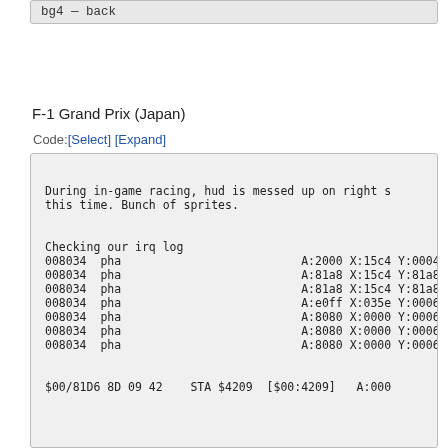bg4 — back
F-1 Grand Prix (Japan)
Code: [Select] [Expand]
During in-game racing, hud is messed up on right s
this time. Bunch of sprites.


Checking our irq log
008034  pha                          A:2000 X:15c4 Y:0004
008034  pha                          A:81a8 X:15c4 Y:81a8
008034  pha                          A:81a8 X:15c4 Y:81a8
008034  pha                          A:e0ff X:035e Y:0006
008034  pha                          A:8080 X:0000 Y:0006
008034  pha                          A:8080 X:0000 Y:0006
008034  pha                          A:8080 X:0000 Y:0006


$00/81D6 8D 09 42    STA $4209  [$00:4209]   A:000